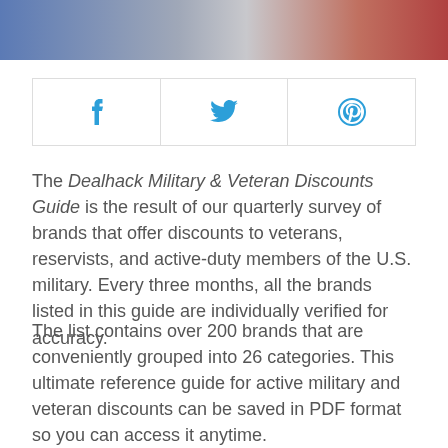[Figure (photo): Partial photo of American flag with blue and red sections visible at top of page]
[Figure (infographic): Social sharing bar with three cells containing Facebook (f), Twitter bird, and Pinterest (p-circle) icons in blue]
The Dealhack Military & Veteran Discounts Guide is the result of our quarterly survey of brands that offer discounts to veterans, reservists, and active-duty members of the U.S. military. Every three months, all the brands listed in this guide are individually verified for accuracy.
The list contains over 200 brands that are conveniently grouped into 26 categories. This ultimate reference guide for active military and veteran discounts can be saved in PDF format so you can access it anytime.